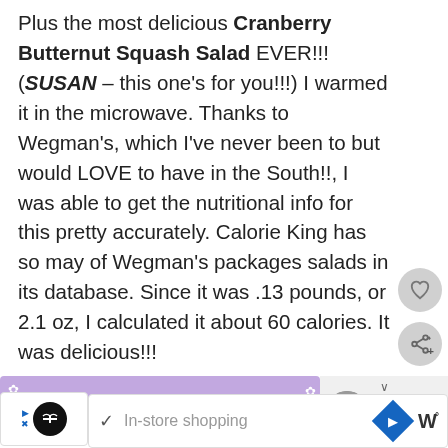Plus the most delicious Cranberry Butternut Squash Salad EVER!!! (SUSAN – this one's for you!!!) I warmed it in the microwave. Thanks to Wegman's, which I've never been to but would LOVE to have in the South!!, I was able to get the nutritional info for this pretty accurately. Calorie King has so may of Wegman's packages salads in its database. Since it was .13 pounds, or 2.1 oz, I calculated it about 60 calories. It was delicious!!!
[Figure (infographic): Purple 'Stop Asian Hate' banner with flower decorations, and a 'What's Next: Brain Juice' thumbnail on the right]
[Figure (infographic): Bottom advertisement bar with shopping icon, checkmark, 'In-store shopping' text, navigation arrow icon, and W logo]